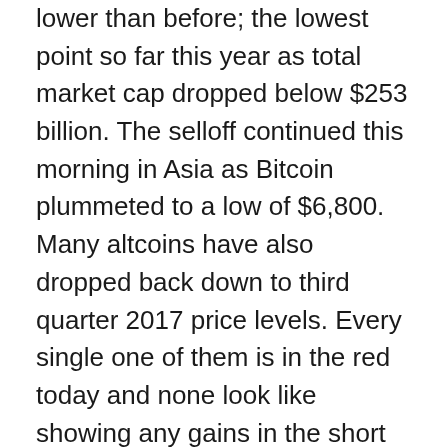lower than before; the lowest point so far this year as total market cap dropped below $253 billion. The selloff continued this morning in Asia as Bitcoin plummeted to a low of $6,800. Many altcoins have also dropped back down to third quarter 2017 price levels. Every single one of them is in the red today and none look like showing any gains in the short term.
As predicted in an op ed on NewsBTC a few days ago, if the last low of $275 billion on March 18 is broken then it will go lower. Total market cap has fallen back to late November levels but the difference this time is that the sentiment is still bearish whereas in late 2017 crypto markets were